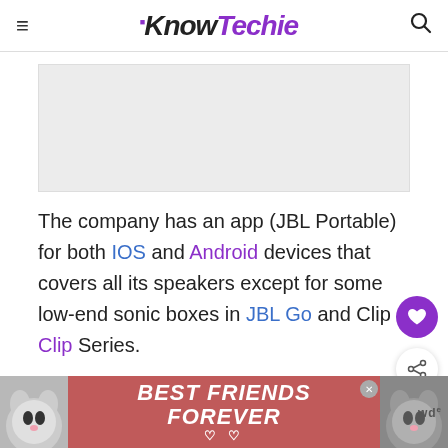KnowTechie
[Figure (other): Advertisement placeholder banner (gray rectangle)]
The company has an app (JBL Portable) for both IOS and Android devices that covers all its speakers except for some low-end sonic boxes in JBL Go and Clip Series.
[Figure (photo): Bottom advertisement banner showing two cats with text 'BEST FRIENDS FOREVER' with heart symbols on a red background]